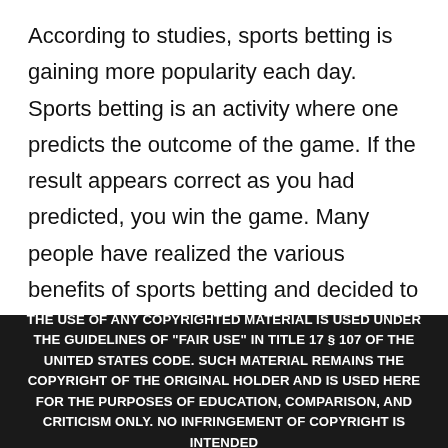According to studies, sports betting is gaining more popularity each day. Sports betting is an activity where one predicts the outcome of the game. If the result appears correct as you had predicted, you win the game. Many people have realized the various benefits of sports betting and decided to participate fully. Depending on the particular betting site that you choose, you can enjoy various benefits. That is because the different betting sites have different benefits. For instance, if you select the best sites, you will enjoy benefits such as huge
THE USE OF ANY COPYRIGHTED MATERIAL IS USED UNDER THE GUIDELINES OF "FAIR USE" IN TITLE 17 § 107 OF THE UNITED STATES CODE. SUCH MATERIAL REMAINS THE COPYRIGHT OF THE ORIGINAL HOLDER AND IS USED HERE FOR THE PURPOSES OF EDUCATION, COMPARISON, AND CRITICISM ONLY. NO INFRINGEMENT OF COPYRIGHT IS INTENDED